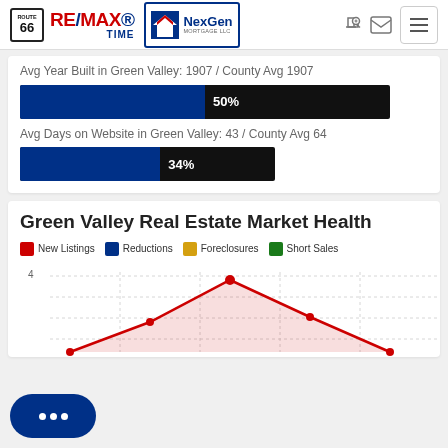RE/MAX Time | NexGen Mortgage
Avg Year Built in Green Valley: 1907 / County Avg 1907
[Figure (bar-chart): Avg Year Built]
Avg Days on Website in Green Valley: 43 / County Avg 64
[Figure (bar-chart): Avg Days on Website]
Green Valley Real Estate Market Health
[Figure (line-chart): Line chart showing New Listings (red), Reductions (blue), Foreclosures (gold), Short Sales (green) over time. Red line peaks at 4 and shows area chart fill.]